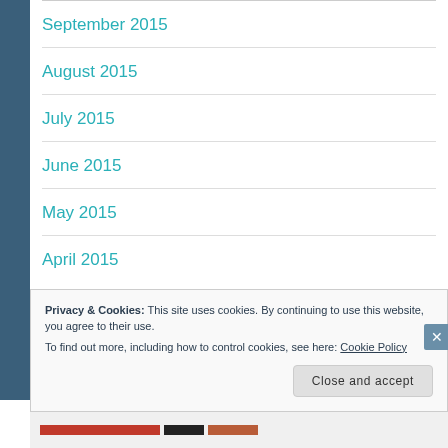September 2015
August 2015
July 2015
June 2015
May 2015
April 2015
Privacy & Cookies: This site uses cookies. By continuing to use this website, you agree to their use.
To find out more, including how to control cookies, see here: Cookie Policy
Close and accept